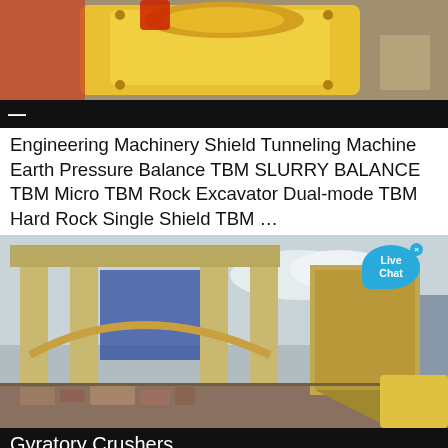[Figure (photo): Close-up photo of a yellow industrial tunneling machine or crusher component]
Engineering Machinery Shield Tunneling Machine Earth Pressure Balance TBM SLURRY BALANCE TBM Micro TBM Rock Excavator Dual-mode TBM Hard Rock Single Shield TBM …
[Figure (photo): Photo of a large industrial gyratory crusher machine in a construction or mining yard, with debris visible underneath and a building in the background. A 'Live Chat' speech bubble overlay is visible in the top right corner.]
Gyratory Crushers